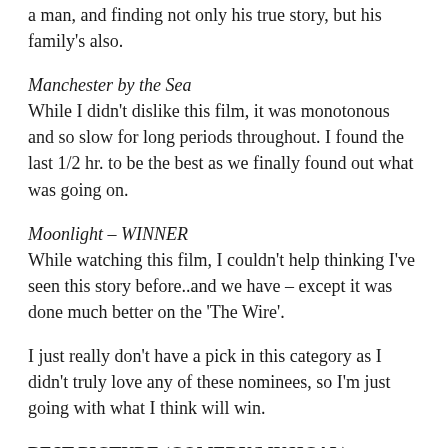a man, and finding not only his true story, but his family's also.
Manchester by the Sea
While I didn't dislike this film, it was monotonous and so slow for long periods throughout. I found the last 1/2 hr. to be the best as we finally found out what was going on.
Moonlight – WINNER
While watching this film, I couldn't help thinking I've seen this story before..and we have – except it was done much better on the 'The Wire'.
I just really don't have a pick in this category as I didn't truly love any of these nominees, so I'm just going with what I think will win.
BEST PICTURE (COMEDY/MUSICAL)
20th Century Women